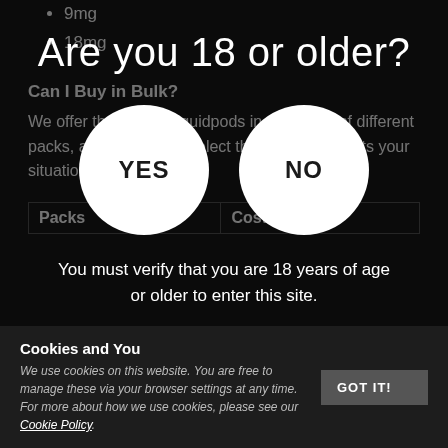9mg
18mg
Can I Buy in Bulk?
We offer the MyBlu Liquidpods in a number of different packs, allowing you to select the option that suits your situation:
| Packs | Cost | Cost per Pack |
| --- | --- | --- |
Are you 18 or older?
You must verify that you are 18 years of age or older to enter this site.
Cookies and You
We use cookies on this website. You are free to manage these via your browser settings at any time. For more about how we use cookies, please see our Cookie Policy.